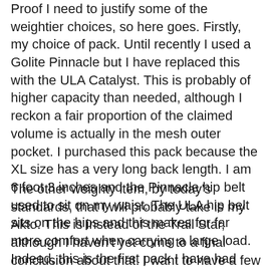Proof I need to justify some of the weightier choices, so here goes.  Firstly, my choice of pack.  Until recently I used a Golite Pinnacle but I have replaced this with the ULA Catalyst. This is probably of higher capacity than needed, although I reckon a fair proportion of the claimed volume is actually in the mesh outer pocket.  I purchased this pack because the XL size has a very long back length.  I am 6 foot 3 inches and the Pinnacle hip belt used to sit on my waist.  The ULA hip belt sits on the hips and this makes for far more comfort when carrying a large load.  Indeed, this is the first pack I have had which has fitted me properly since my fully framed Karrimor Randonneur pack which I had in the early 70's.
The other weighty item, by today's standards, that I will probably take is my Akto.  This is instead of the Trail Star, although I haven't yet come to a final conclusion about that. I want to have a few more nights in the TS before May and to use my as yet